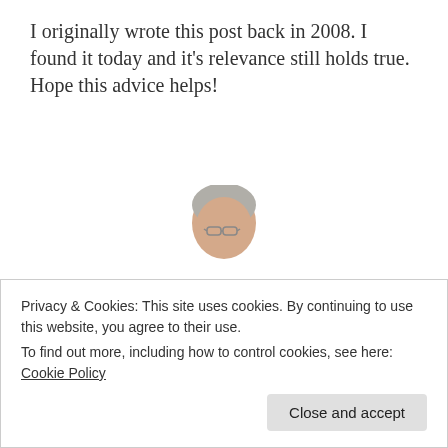I originally wrote this post back in 2008. I found it today and it's relevance still holds true. Hope this advice helps!
[Figure (photo): Book cover showing Tim Gunn in a dark suit against white background, with text 'A GUIDE TO QUALITY, TASTE & STYLE' and 'Tim Gunn' in large pink letters]
Privacy & Cookies: This site uses cookies. By continuing to use this website, you agree to their use.
To find out more, including how to control cookies, see here: Cookie Policy